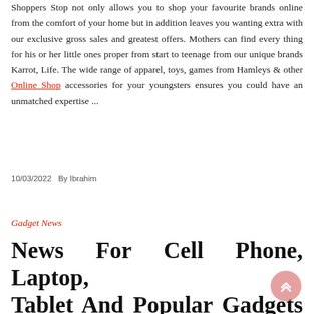Shoppers Stop not only allows you to shop your favourite brands online from the comfort of your home but in addition leaves you wanting extra with our exclusive gross sales and greatest offers. Mothers can find every thing for his or her little ones proper from start to teenage from our unique brands Karrot, Life. The wide range of apparel, toys, games from Hamleys & other Online Shop accessories for your youngsters ensures you could have an unmatched expertise ...
10/03/2022   By Ibrahim
Gadget News
News For Cell Phone, Laptop, Tablet And Popular Gadgets In